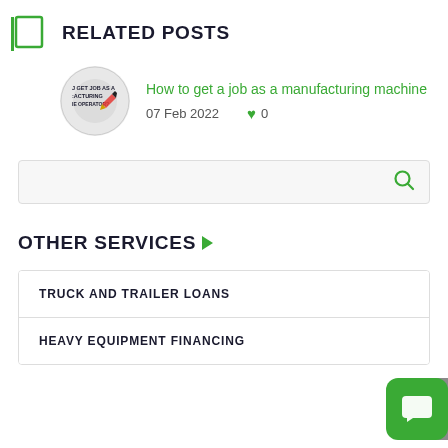RELATED POSTS
How to get a job as a manufacturing machine
07 Feb 2022  ♥ 0
[Figure (other): Search box with magnifying glass icon]
OTHER SERVICES
TRUCK AND TRAILER LOANS
HEAVY EQUIPMENT FINANCING